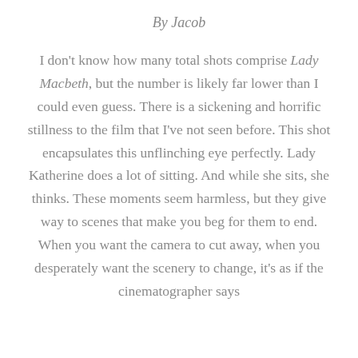By Jacob
I don't know how many total shots comprise Lady Macbeth, but the number is likely far lower than I could even guess. There is a sickening and horrific stillness to the film that I've not seen before. This shot encapsulates this unflinching eye perfectly. Lady Katherine does a lot of sitting. And while she sits, she thinks. These moments seem harmless, but they give way to scenes that make you beg for them to end. When you want the camera to cut away, when you desperately want the scenery to change, it's as if the cinematographer says